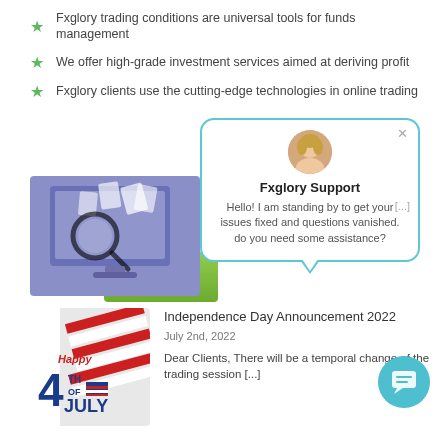Fxglory trading conditions are universal tools for funds management
We offer high-grade investment services aimed at deriving profit
Fxglory clients use the cutting-edge technologies in online trading
[Figure (other): Green REGISTER NOW button]
[Figure (other): Chat popup from Fxglory Support agent with avatar, name and message: Hello! I am standing by to get your issues fixed and questions vanished. do you need some assistance?]
[Figure (illustration): Illustration of a computer monitor with magnifying glass and documents on purple/blue background]
[Figure (photo): Happy 4th of July Independence Day themed image with American flag]
Independence Day Announcement 2022
July 2nd, 2022
Dear Clients, There will be a temporal change of the trading session [...]